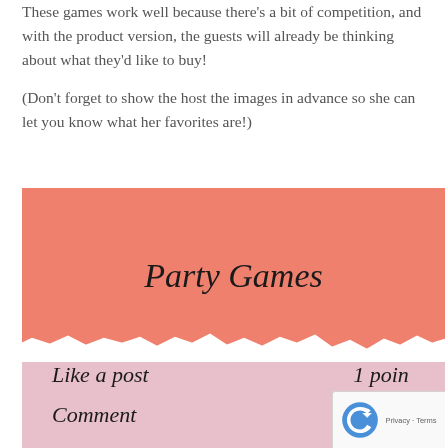These games work well because there's a bit of competition, and with the product version, the guests will already be thinking about what they'd like to buy!
(Don't forget to show the host the images in advance so she can let you know what her favorites are!)
[Figure (infographic): Party Games infographic card with salmon pink top half showing italic 'Party Games' title, a torn paper effect divider, and a lighter pink bottom half showing scoring: 'Like a post' = 1 point, 'Comment' = 3 points]